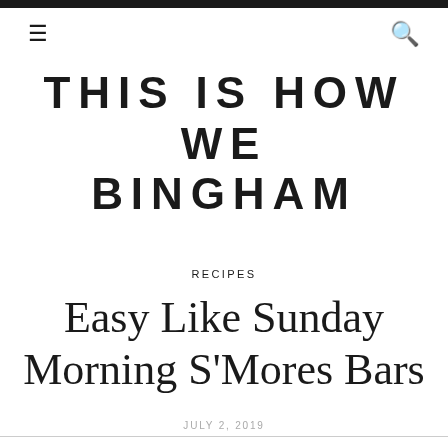THIS IS HOW WE BINGHAM
RECIPES
Easy Like Sunday Morning S'Mores Bars
JULY 2, 2019